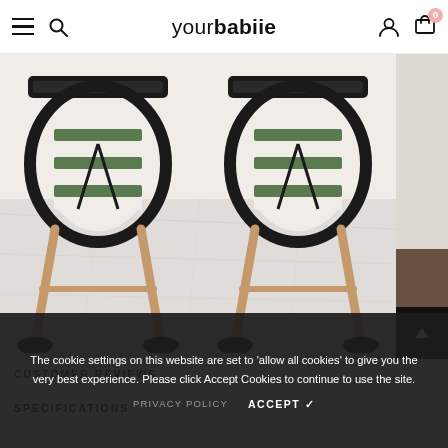yourbabiie — navigation header with hamburger menu, search, logo, account, and cart (0)
[Figure (photo): Two identical baby high chairs side by side with rose gold legs, black frames and trays, and green/white striped seat cushions, placed on white marble floor against white wall.]
The cookie settings on this website are set to 'allow all cookies' to give you the very best experience. Please click Accept Cookies to continue to use the site.
PRIVACY POLICY   ACCEPT ✓
CUSTOMER REVIEWS
SPECIFICATIONS